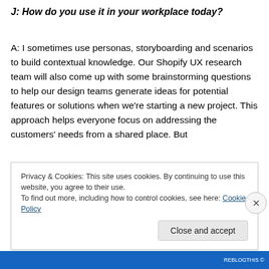J: How do you use it in your workplace today?
A: I sometimes use personas, storyboarding and scenarios to build contextual knowledge. Our Shopify UX research team will also come up with some brainstorming questions to help our design teams generate ideas for potential features or solutions when we're starting a new project. This approach helps everyone focus on addressing the customers' needs from a shared place. But
Privacy & Cookies: This site uses cookies. By continuing to use this website, you agree to their use.
To find out more, including how to control cookies, see here: Cookie Policy